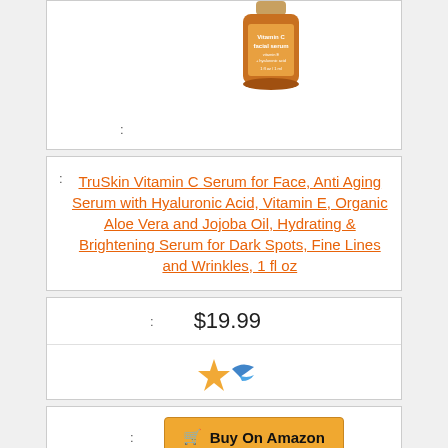[Figure (photo): Partial product card showing top portion with product image (Vitamin C Facial Serum bottle) and a colon label row]
TruSkin Vitamin C Serum for Face, Anti Aging Serum with Hyaluronic Acid, Vitamin E, Organic Aloe Vera and Jojoba Oil, Hydrating & Brightening Serum for Dark Spots, Fine Lines and Wrinkles, 1 fl oz
$19.99
[Figure (other): Amazon star rating icon (partial, orange/blue stars)]
Buy On Amazon
5
: